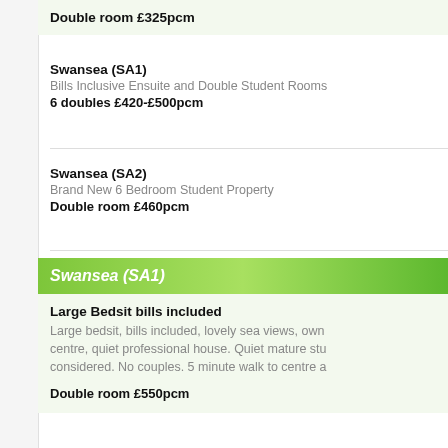Double room £325pcm
Swansea (SA1)
Bills Inclusive Ensuite and Double Student Rooms
6 doubles £420-£500pcm
Swansea (SA2)
Brand New 6 Bedroom Student Property
Double room £460pcm
Swansea (SA1)
Large Bedsit bills included
Large bedsit, bills included, lovely sea views, own centre, quiet professional house. Quiet mature stu considered. No couples. 5 minute walk to centre a
Double room £550pcm